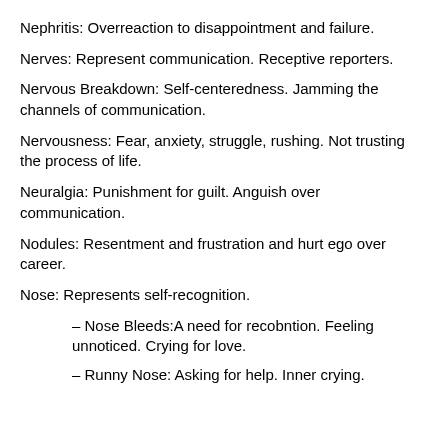Nephritis: Overreaction to disappointment and failure.
Nerves: Represent communication. Receptive reporters.
Nervous Breakdown: Self-centeredness. Jamming the channels of communication.
Nervousness: Fear, anxiety, struggle, rushing. Not trusting the process of life.
Neuralgia: Punishment for guilt. Anguish over communication.
Nodules: Resentment and frustration and hurt ego over career.
Nose: Represents self-recognition.
– Nose Bleeds:A need for recobntion. Feeling unnoticed. Crying for love.
– Runny Nose: Asking for help. Inner crying.